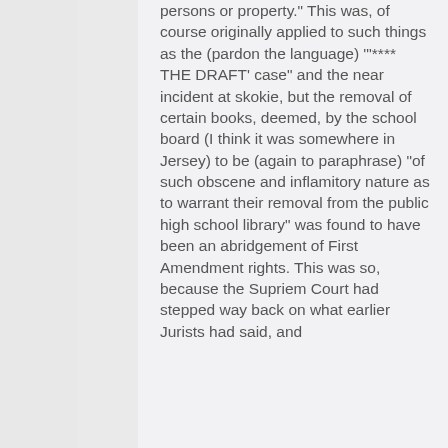persons or property." This was, of course originally applied to such things as the (pardon the language) '"**** THE DRAFT' case" and the near incident at skokie, but the removal of certain books, deemed, by the school board (I think it was somewhere in Jersey) to be (again to paraphrase) "of such obscene and inflamitory nature as to warrant their removal from the public high school library" was found to have been an abridgement of First Amendment rights. This was so, because the Supriem Court had stepped way back on what earlier Jurists had said, and